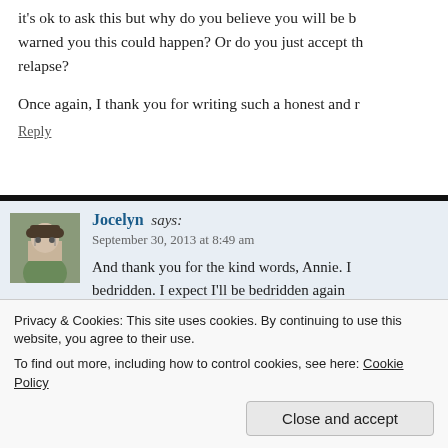it's ok to ask this but why do you believe you will be b… warned you this could happen? Or do you just accept th… relapse?
Once again, I thank you for writing such a honest and r…
Reply
Jocelyn says: September 30, 2013 at 8:49 am
And thank you for the kind words, Annie. I… bedridden. I expect I'll be bedridden again… run out of successful interventions for sleep…
Privacy & Cookies: This site uses cookies. By continuing to use this website, you agree to their use.
To find out more, including how to control cookies, see here: Cookie Policy
Close and accept